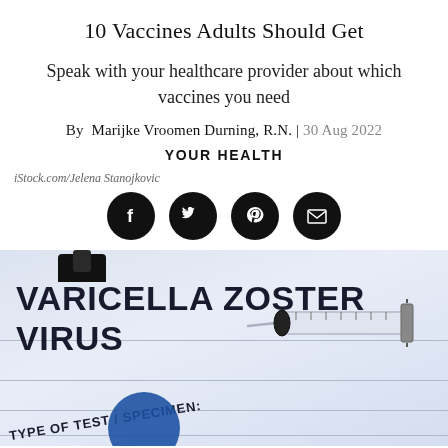10 Vaccines Adults Should Get
Speak with your healthcare provider about which vaccines you need
By  Marijke Vroomen Durning, R.N. | 30 Aug 2022
YOUR HEALTH
iStock.com/Jelena Stanojkovic
[Figure (photo): Medical form labeled 'VARICELLA ZOSTER VIRUS' with a syringe, clipboard, and stethoscope]
[Figure (infographic): Social media share icons: Facebook, Twitter, Pinterest, Email]